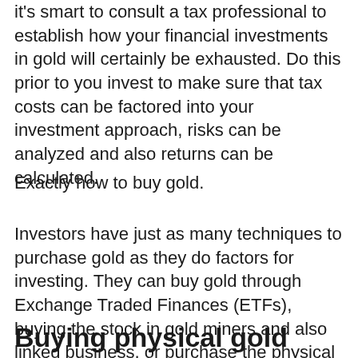it's smart to consult a tax professional to establish how your financial investments in gold will certainly be exhausted. Do this prior to you invest to make sure that tax costs can be factored into your investment approach, risks can be analyzed and also returns can be calculated.
Exactly how to buy gold.
Investors have just as many techniques to purchase gold as they do factors for investing. They can buy gold through Exchange Traded Finances (ETFs), buying the stock in gold miners and also linked business, or purchase the physical item.
Buying physical gold